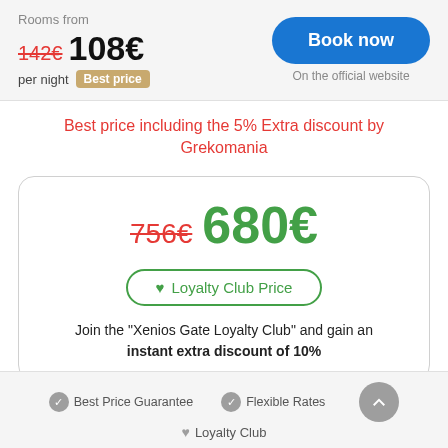Rooms from
142€ 108€ per night Best price
Book now
On the official website
Best price including the 5% Extra discount by Grekomania
756€ 680€
♥ Loyalty Club Price
Join the "Xenios Gate Loyalty Club" and gain an instant extra discount of 10%
✓ Best Price Guarantee  ✓ Flexible Rates  ♥ Loyalty Club